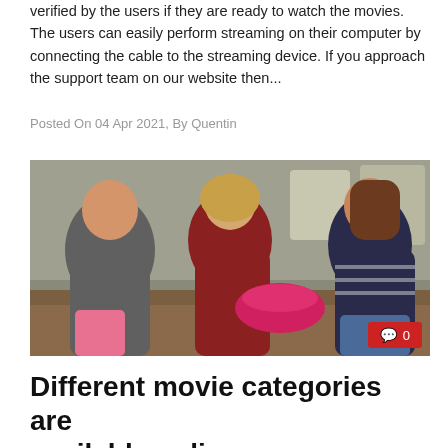verified by the users if they are ready to watch the movies. The users can easily perform streaming on their computer by connecting the cable to the streaming device. If you approach the support team on our website then...
Posted On 04 Apr 2021, By Quentin
[Figure (photo): Three girls/women sitting on a couch laughing and watching something, holding a pink/red bowl of popcorn. Comment badge showing '0' in bottom-right corner.]
Different movie categories are available online